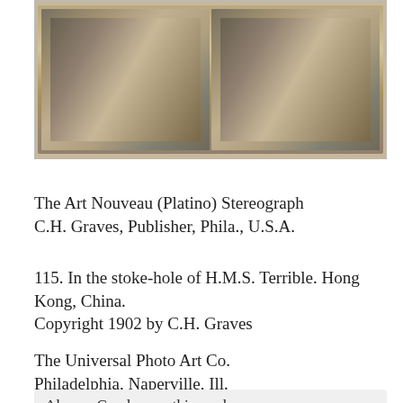[Figure (photo): Stereograph photo showing two side-by-side images of workers in the stoke-hole of H.M.S. Terrible, Hong Kong, China. Sepia-toned historical photograph on card mount.]
The Art Nouveau (Platino) Stereograph
C.H. Graves, Publisher, Phila., U.S.A.
115. In the stoke-hole of H.M.S. Terrible. Hong Kong, China.
Copyright 1902 by C.H. Graves
The Universal Photo Art Co.
Philadelphia, Naperville, Ill.
Also on Gwulo.com this week:
Photos of 1947 Hong Kong: Thanks to Christine for uploading these photos. Start at http://gwulo.com/atom/20996 then use